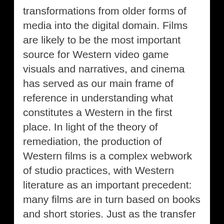transformations from older forms of media into the digital domain. Films are likely to be the most important source for Western video game visuals and narratives, and cinema has served as our main frame of reference in understanding what constitutes a Western in the first place. In light of the theory of remediation, the production of Western films is a complex webwork of studio practices, with Western literature as an important precedent: many films are in turn based on books and short stories. Just as the transfer from literature to film needs to repurpose the source material, the reworking of Western themes to the video game medium required a reinvention peculiar to that environment. We examine video games for their own take on the Western themes, observing the presence and absence of common topics seen in films.
The Western film itself has been reinvented in various ways throughout the 20th century. The